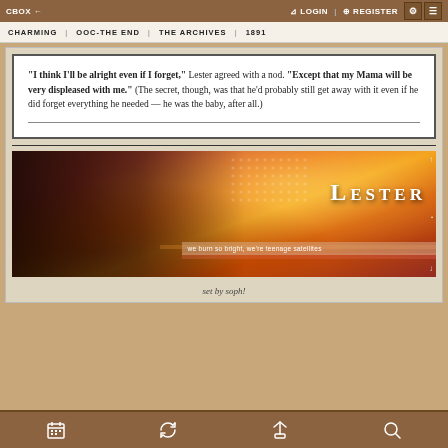CBOX ← | LOGIN | REGISTER
CHARMING | OOC-THE END | THE ARCHIVES | 1891
"I think I'll be alright even if I forget," Lester agreed with a nod. "Except that my Mama will be very displeased with me." (The secret, though, was that he'd probably still get away with it even if he did forget everything he needed — he was the baby, after all.)
[Figure (illustration): Banner image showing a young man with dark curly hair against a fiery red-orange background. Text reads 'LESTER' in large serif font and 'we burn so bright, we're teenage satellites' in smaller text on a light banner strip.]
set by soph!
Navigation toolbar with calendar, refresh, pin, and search icons